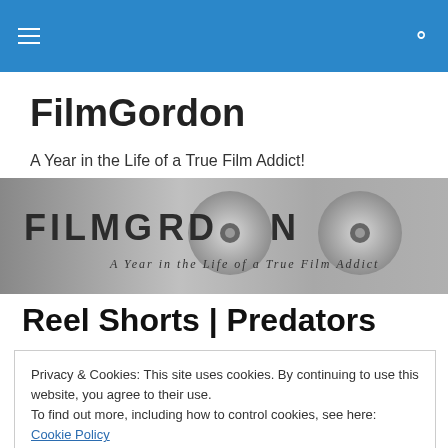FilmGordon – navigation bar with hamburger menu and search icon
FilmGordon
A Year in the Life of a True Film Addict!
[Figure (illustration): FilmGordon banner image with film reel graphic and text 'FILMGORDON – A Year in the Life of a True Film Addict']
Reel Shorts | Predators
Privacy & Cookies: This site uses cookies. By continuing to use this website, you agree to their use.
To find out more, including how to control cookies, see here: Cookie Policy
Close and accept
[Figure (photo): Bottom strip showing a partial photo, jungle/outdoor scene with people]